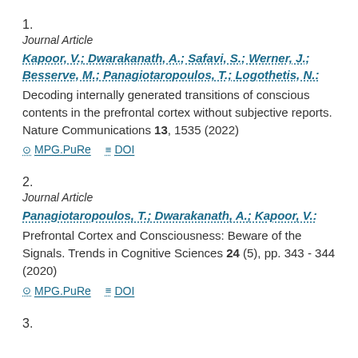1.
Journal Article
Kapoor, V.; Dwarakanath, A.; Safavi, S.; Werner, J.; Besserve, M.; Panagiotaropoulos, T.; Logothetis, N.:
Decoding internally generated transitions of conscious contents in the prefrontal cortex without subjective reports. Nature Communications 13, 1535 (2022)
MPG.PuRe   DOI
2.
Journal Article
Panagiotaropoulos, T.; Dwarakanath, A.; Kapoor, V.:
Prefrontal Cortex and Consciousness: Beware of the Signals. Trends in Cognitive Sciences 24 (5), pp. 343 - 344 (2020)
MPG.PuRe   DOI
3.